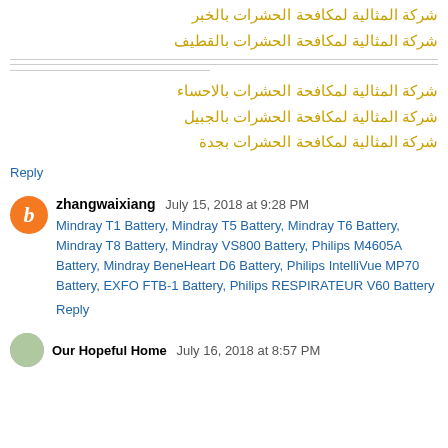شركة المثالية لمكافحة الحشرات بالخبر
شركة المثالية لمكافحة الحشرات بالقطيف
شركة المثالية لمكافحة الحشرات بالاحساء
شركة المثالية لمكافحة الحشرات بالجبيل
شركة المثالية لمكافحة الحشرات بجدة
Reply
zhangwaixiang July 15, 2018 at 9:28 PM
Mindray T1 Battery, Mindray T5 Battery, Mindray T6 Battery, Mindray T8 Battery, Mindray VS800 Battery, Philips M4605A Battery, Mindray BeneHeart D6 Battery, Philips IntelliVue MP70 Battery, EXFO FTB-1 Battery, Philips RESPIRATEUR V60 Battery
Reply
Our Hopeful Home July 16, 2018 at 8:57 PM